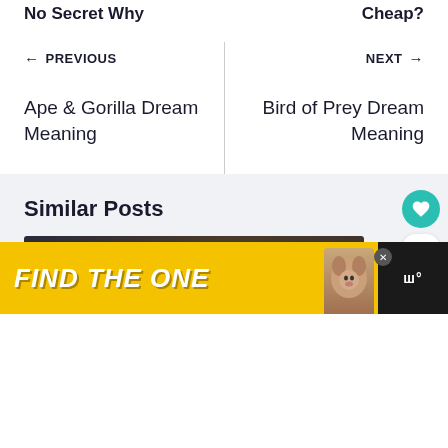No Secret Why
Cheap?
← PREVIOUS
Ape & Gorilla Dream Meaning
NEXT →
Bird of Prey Dream Meaning
Similar Posts
[Figure (photo): Dark background photo with blurred bokeh lights, partial view of a person]
[Figure (infographic): Advertisement banner: FIND THE ONE with a dog image on yellow background]